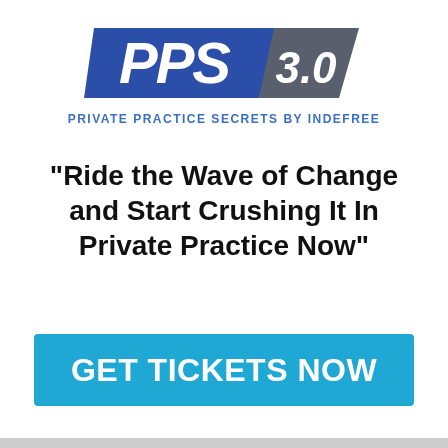[Figure (logo): PPS 3.0 logo with blue parallelogram containing 'PPS' in white italic bold and grey parallelogram containing '3.0' in white italic bold]
PRIVATE PRACTICE SECRETS BY INDEFREE
"Ride the Wave of Change and Start Crushing It In Private Practice Now"
GET TICKETS NOW